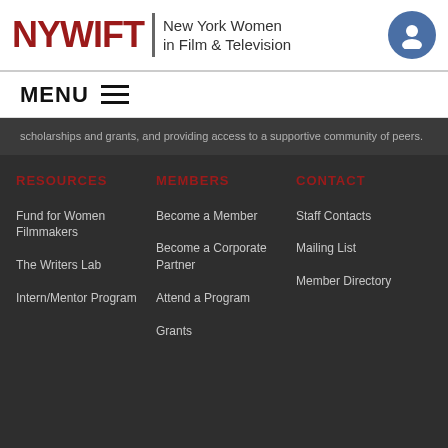NYWIFT | New York Women in Film & Television
MENU
scholarships and grants, and providing access to a supportive community of peers.
RESOURCES
MEMBERS
CONTACT
Fund for Women Filmmakers
Become a Member
Staff Contacts
The Writers Lab
Become a Corporate Partner
Mailing List
Intern/Mentor Program
Attend a Program
Member Directory
Grants